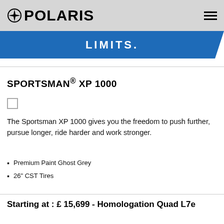POLARIS
[Figure (illustration): Blue banner with white uppercase bold text reading 'LIMITS.']
SPORTSMAN® XP 1000
[Figure (other): Empty checkbox square]
The Sportsman XP 1000 gives you the freedom to push further, pursue longer, ride harder and work stronger.
Premium Paint Ghost Grey
26" CST Tires
Starting at : £ 15,699 - Homologation Quad L7e